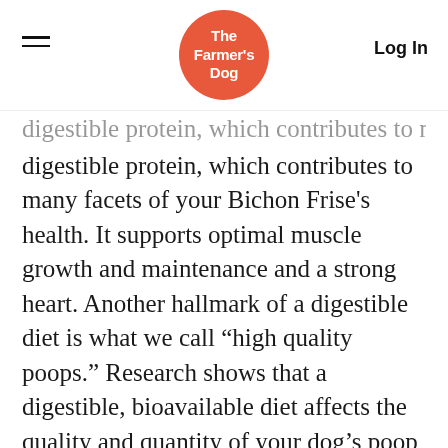The Farmer's Dog | Log In
digestible protein, which contributes to many facets of your Bichon Frise's health. It supports optimal muscle growth and maintenance and a strong heart. Another hallmark of a digestible diet is what we call “high quality poops.” Research shows that a digestible, bioavailable diet affects the quality and quantity of your dog’s poop—making it less voluminous, and less stinky, than their poop on a kibble diet!
Maintain a healthy weight
It’s critically important to avoid overfeeding